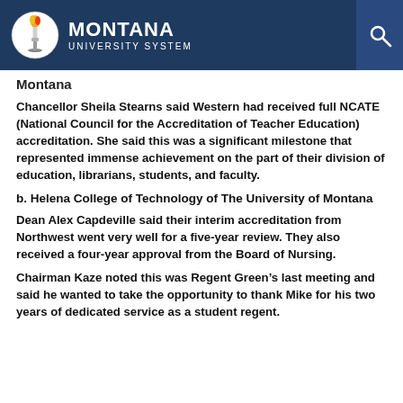[Figure (logo): Montana University System logo with torch/flame emblem and search icon in dark navy header bar]
Montana
Chancellor Sheila Stearns said Western had received full NCATE (National Council for the Accreditation of Teacher Education) accreditation. She said this was a significant milestone that represented immense achievement on the part of their division of education, librarians, students, and faculty.
b. Helena College of Technology of The University of Montana
Dean Alex Capdeville said their interim accreditation from Northwest went very well for a five-year review. They also received a four-year approval from the Board of Nursing.
Chairman Kaze noted this was Regent Green’s last meeting and said he wanted to take the opportunity to thank Mike for his two years of dedicated service as a student regent.